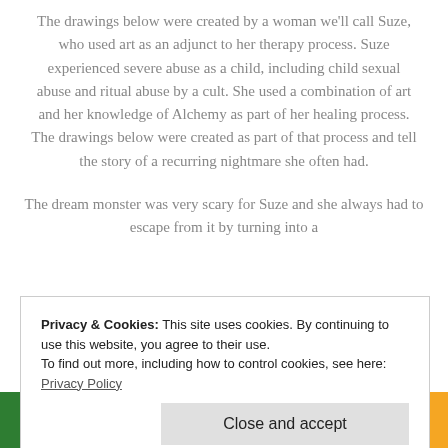The drawings below were created by a woman we'll call Suze, who used art as an adjunct to her therapy process. Suze experienced severe abuse as a child, including child sexual abuse and ritual abuse by a cult. She used a combination of art and her knowledge of Alchemy as part of her healing process. The drawings below were created as part of that process and tell the story of a recurring nightmare she often had.
The dream monster was very scary for Suze and she always had to escape from it by turning into a
Privacy & Cookies: This site uses cookies. By continuing to use this website, you agree to their use.
To find out more, including how to control cookies, see here: Privacy Policy
Close and accept
iginal monster in her dreams was her father in real